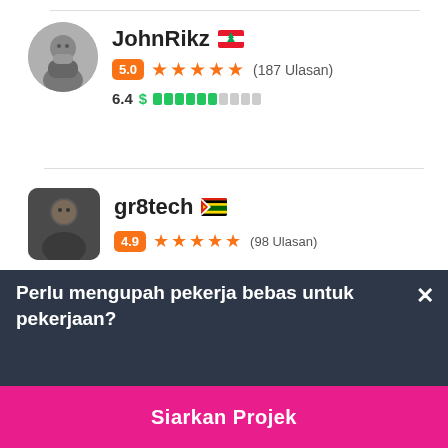[Figure (screenshot): Freelancer profile listing showing JohnRikz with Lebanese flag, 5.0 rating badge, 5 orange stars, 187 reviews, level 6.4 indicator; followed by gr8tech with Zimbabwean flag, partially visible rating row. Bottom overlay with dark background reads 'Perlu mengupah pekerja bebas untuk pekerjaan?' with an X close button and a pink 'Siarkan Projek' call-to-action button.]